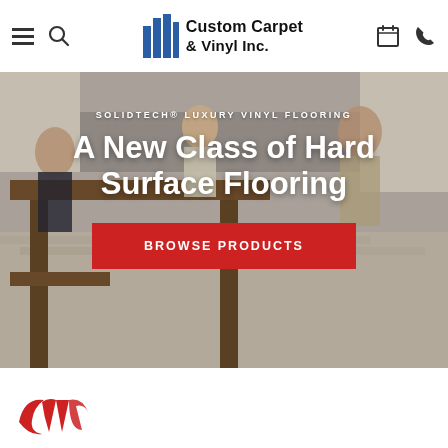Custom Carpet & Vinyl Inc. — navigation header with hamburger menu, search icon, logo, calendar icon, phone icon
[Figure (screenshot): Hero banner image of a family in a kitchen with luxury vinyl plank flooring. Overlaid text reads 'SOLIDTECH® LUXURY VINYL FLOORING' and 'A New Class of Hard Surface Flooring' with a red 'BROWSE PRODUCTS' button.]
SOLIDTECH® LUXURY VINYL FLOORING
A New Class of Hard Surface Flooring
BROWSE PRODUCTS
[Figure (logo): Partial CCV (Custom Carpet & Vinyl) red script logo mark visible at bottom of page]